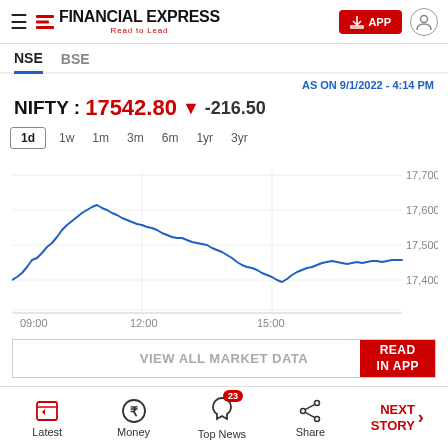Financial Express – Read to Lead
NSE | BSE
AS ON 9/1/2022 - 4:14 PM
NIFTY : 17542.80 ▼ -216.50
[Figure (continuous-plot): Intraday line chart of NIFTY index on 9/1/2022, showing price movement from 09:00 to approximately 15:30. The line starts around 17,480, rises to a peak near 17,700 around 10:30-11:00, then gradually declines with some fluctuations, dropping to about 17,490 around midday, recovering slightly, dropping again near 13:00, and ending around 17,545 near market close.]
VIEW ALL MARKET DATA
Latest | Money | Top News (23) | Share | NEXT STORY